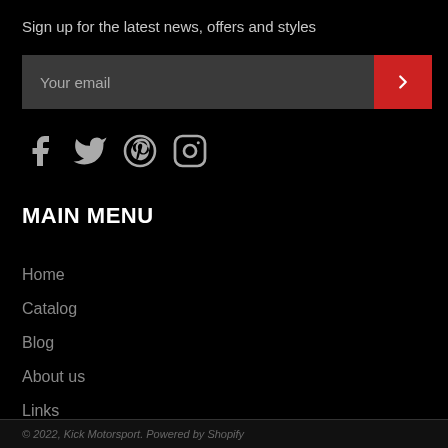Sign up for the latest news, offers and styles
[Figure (other): Email signup input field with red submit button showing a right chevron arrow]
[Figure (other): Social media icons: Facebook, Twitter, Pinterest, Instagram]
MAIN MENU
Home
Catalog
Blog
About us
Links
Contact Us
© 2022, Kick Motorsport. Powered by Shopify